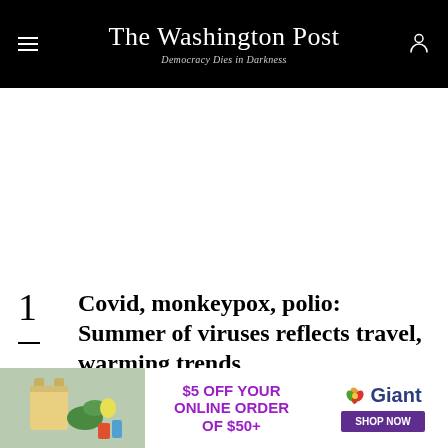The Washington Post — Democracy Dies in Darkness
Covid, monkeypox, polio: Summer of viruses reflects travel, warming trends
[Figure (photo): Bottom advertisement banner: Giant grocery store ad showing groceries, '$5 OFF YOUR ONLINE ORDER OF $50+' text in purple, Giant logo with leaf icon, and 'SHOP NOW' purple button]
$5 OFF YOUR ONLINE ORDER OF $50+ · Giant · SHOP NOW